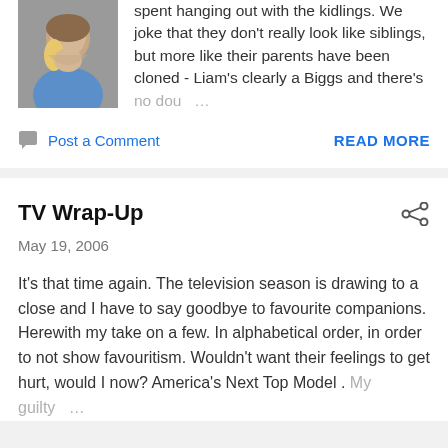[Figure (photo): Photo of a man laughing with a child, cropped at top]
spent hanging out with the kidlings. We joke that they don't really look like siblings, but more like their parents have been cloned - Liam's clearly a Biggs and there's no dou…
Post a Comment
READ MORE
TV Wrap-Up
May 19, 2006
It's that time again. The television season is drawing to a close and I have to say goodbye to favourite companions. Herewith my take on a few. In alphabetical order, in order to not show favouritism. Wouldn't want their feelings to get hurt, would I now? America's Next Top Model . My guilty…